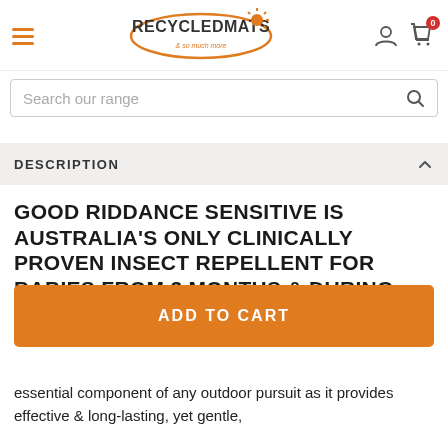RecycledMats - & so much more
Search our range
DESCRIPTION
GOOD RIDDANCE SENSITIVE IS AUSTRALIA'S ONLY CLINICALLY PROVEN INSECT REPELLENT FOR BABIES FROM 3 MONTHS & DURING PREGNANCY
ADD TO CART
essential component of any outdoor pursuit as it provides effective & long-lasting, yet gentle,